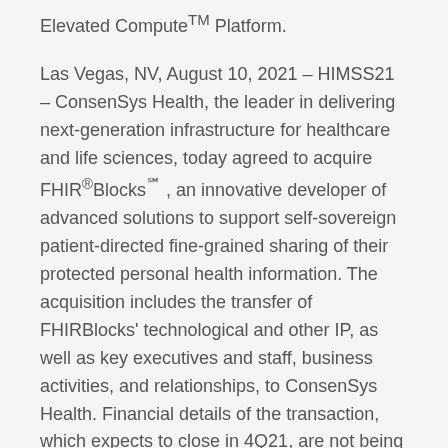Elevated Compute™ Platform.
Las Vegas, NV, August 10, 2021 – HIMSS21 – ConsenSys Health, the leader in delivering next-generation infrastructure for healthcare and life sciences, today agreed to acquire FHIR®Blocks℠ , an innovative developer of advanced solutions to support self-sovereign patient-directed fine-grained sharing of their protected personal health information. The acquisition includes the transfer of FHIRBlocks’ technological and other IP, as well as key executives and staff, business activities, and relationships, to ConsenSys Health. Financial details of the transaction, which expects to close in 4Q21, are not being disclosed.
Fine-grained consent management is a precursor to